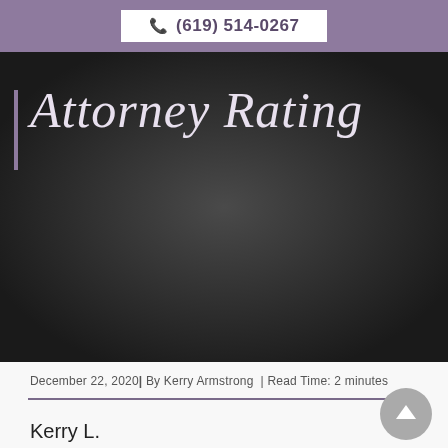(619) 514-0267
[Figure (illustration): Dark banner image with italic script text reading 'Attorney Rating' on a dark charcoal background, with a purple vertical accent bar on the left]
December 22, 2020 | By Kerry Armstrong | Read Time: 2 minutes
Kerry L. Armstrong, of The Law Offices of Kerry Armstrong, APC